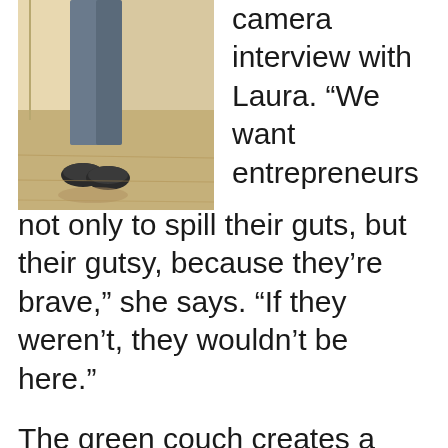[Figure (photo): Partial photo of a person's lower body, wearing jeans and dark shoes, standing on a light wooden floor with a light-colored background.]
camera interview with Laura. “We want entrepreneurs not only to spill their guts, but their gutsy, because they’re brave,” she says. “If they weren’t, they wouldn’t be here.”
The green couch creates a safe zone where entrepreneurs can talk about the fear, anxiety, and other struggles they’ve faced. “It’s a nonconventional interview. It’s more like a good old-fashioned conversation,” Laura says. “I feel like people are more comfortable when they